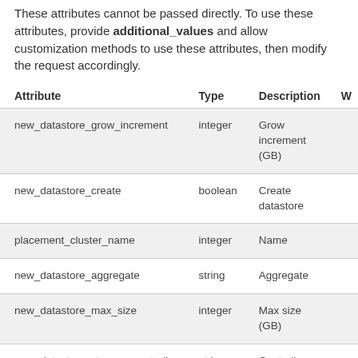These attributes cannot be passed directly. To use these attributes, provide additional_values and allow customization methods to use these attributes, then modify the request accordingly.
| Attribute | Type | Description | W |
| --- | --- | --- | --- |
| new_datastore_grow_increment | integer | Grow increment (GB) |  |
| new_datastore_create | boolean | Create datastore |  |
| placement_cluster_name | integer | Name |  |
| new_datastore_aggregate | string | Aggregate |  |
| new_datastore_max_size | integer | Max size (GB) |  |
| new_datastore_storage_controller | string | Controller |  |